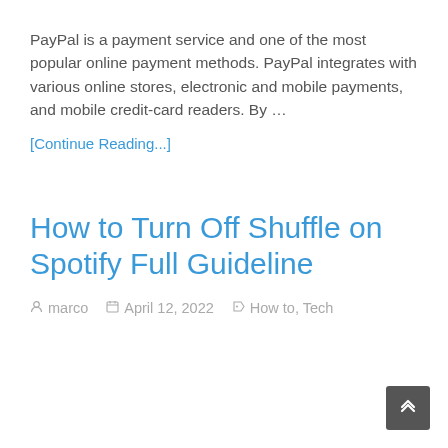PayPal is a payment service and one of the most popular online payment methods. PayPal integrates with various online stores, electronic and mobile payments, and mobile credit-card readers. By …
[Continue Reading...]
How to Turn Off Shuffle on Spotify Full Guideline
marco   April 12, 2022   How to, Tech